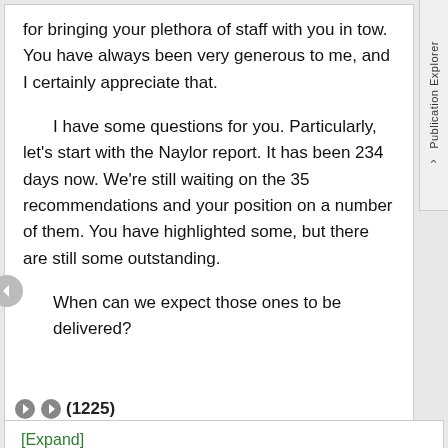for bringing your plethora of staff with you in tow. You have always been very generous to me, and I certainly appreciate that.
I have some questions for you. Particularly, let's start with the Naylor report. It has been 234 days now. We're still waiting on the 35 recommendations and your position on a number of them. You have highlighted some, but there are still some outstanding.
When can we expect those ones to be delivered?
(1225)
[Expand]